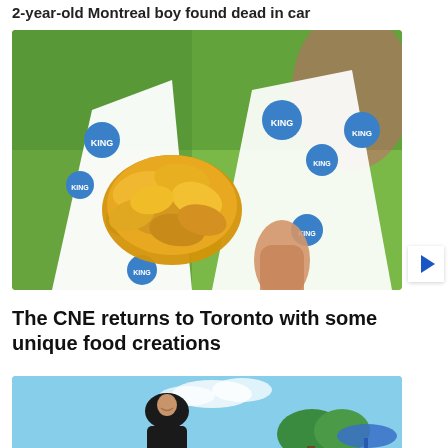2-year-old Montreal boy found dead in car
[Figure (photo): Close-up photo of fried food (fish and chips) in branded paper wrapping with blue and white 'King' logo circles, held by a hand outdoors with green and pink blurred background]
The CNE returns to Toronto with some unique food creations
[Figure (photo): Person wearing black hijab smiling, standing outdoors with blue sky, trees, and a blue umbrella or tent visible in the background]